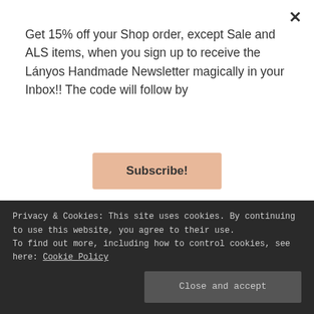Get 15% off your Shop order, except Sale and ALS items, when you sign up to receive the Lányos Handmade Newsletter magically in your Inbox!! The code will follow by
Subscribe!
Her Designer Original from the Versace spring/summer 2018 RTW Collection and her Designer Copy ...
Privacy & Cookies: This site uses cookies. By continuing to use this website, you agree to their use. To find out more, including how to control cookies, see here: Cookie Policy
Close and accept